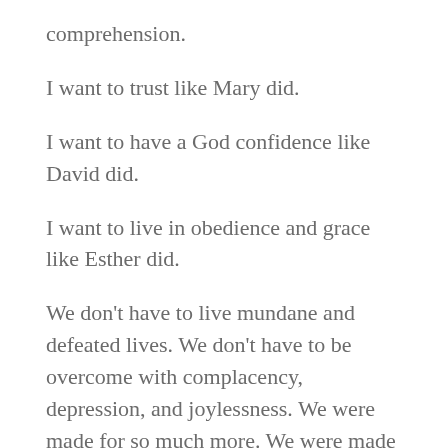comprehension.
I want to trust like Mary did.
I want to have a God confidence like David did.
I want to live in obedience and grace like Esther did.
We don't have to live mundane and defeated lives. We don't have to be overcome with complacency, depression, and joylessness. We were made for so much more. We were made to be world changers. We were made to be representatives of Christ. We were made to be powerful in Christ, to rise up and out of the darkness to proclaim the power and goodness of God. I don't want to remain the same. I